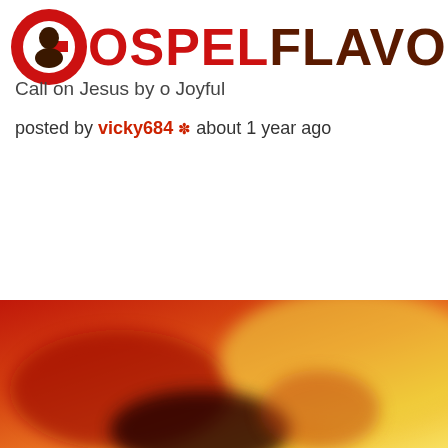[Figure (logo): GospelFlavour website logo with red circular G icon and bold red/dark brown text reading GOSPELFLAVOUR]
Call on Jesus by o Joyful
posted by vicky684 ❋ about 1 year ago
[Figure (photo): Blurred thumbnail image with red, orange and yellow tones, showing a partial view of a person or scene]